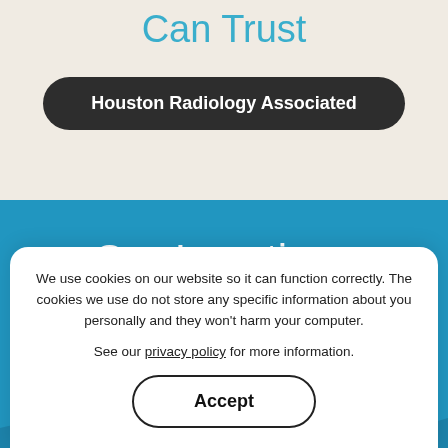Can Trust
Houston Radiology Associated
Our Locations
Houston Radiology Associated has
17 Locations
We use cookies on our website so it can function correctly. The cookies we use do not store any specific information about you personally and they won't harm your computer.
See our privacy policy for more information.
Accept